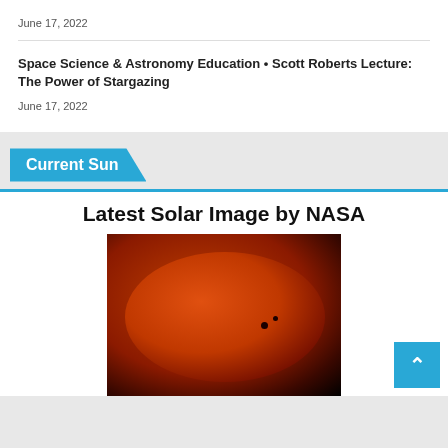June 17, 2022
Space Science & Astronomy Education • Scott Roberts Lecture: The Power of Stargazing
June 17, 2022
Current Sun
Latest Solar Image by NASA
[Figure (photo): A close-up photograph of the Sun against a black background, showing the solar disk in deep red/orange tones with visible sunspots near the center-right of the disk.]